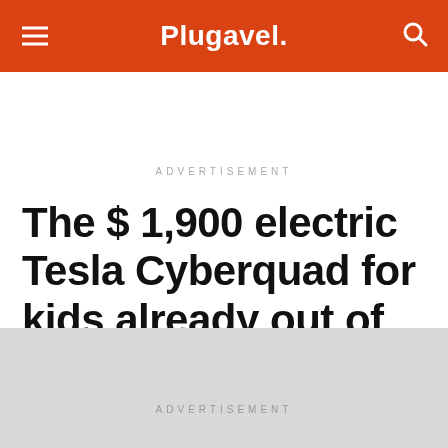Plugavel.
ADVERTISEMENT
The $ 1,900 electric Tesla Cyberquad for kids already out of stock
ADVERTISEMENT